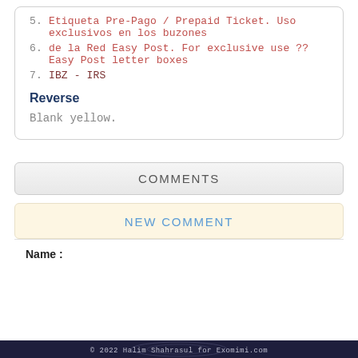5. Etiqueta Pre-Pago / Prepaid Ticket. Uso exclusivos en los buzones
6. de la Red Easy Post. For exclusive use ?? Easy Post letter boxes
7. IBZ - IRS
Reverse
Blank yellow.
COMMENTS
NEW COMMENT
Name :
© 2022 Halim Shahrasul for Exomimi.com